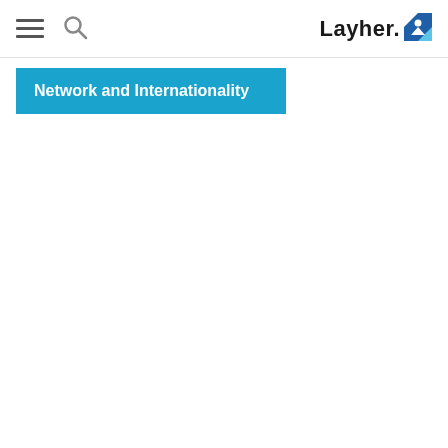Layher. [logo]
Network and Internationality